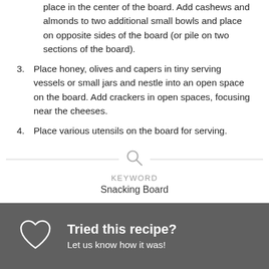place in the center of the board. Add cashews and almonds to two additional small bowls and place on opposite sides of the board (or pile on two sections of the board).
3. Place honey, olives and capers in tiny serving vessels or small jars and nestle into an open space on the board. Add crackers in open spaces, focusing near the cheeses.
4. Place various utensils on the board for serving.
KEYWORD
Snacking Board
Tried this recipe? Let us know how it was!